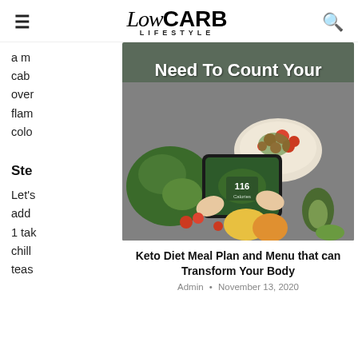LowCARB LIFESTYLE
a m cabl over flam colo
Ste
Let's add 1 tak chill teas
[Figure (photo): Article card showing a person photographing a salad bowl with vegetables and smartphone displaying 116 Calories, with text overlay 'Need To Count Your Calories and Carbs']
Keto Diet Meal Plan and Menu that can Transform Your Body
Admin • November 13, 2020